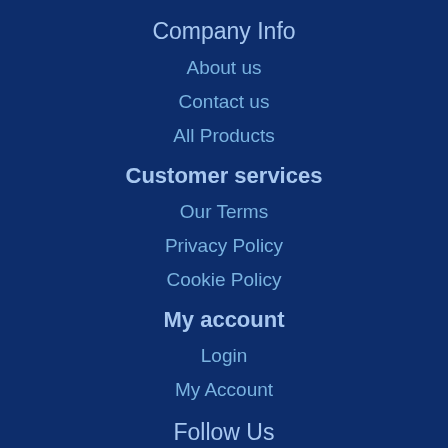Company Info
About us
Contact us
All Products
Customer services
Our Terms
Privacy Policy
Cookie Policy
My account
Login
My Account
Follow Us